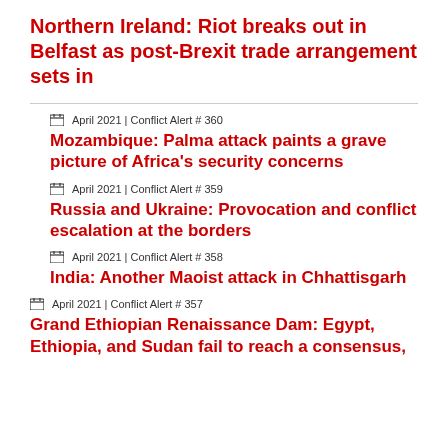Northern Ireland: Riot breaks out in Belfast as post-Brexit trade arrangement sets in
April 2021 | Conflict Alert # 360
Mozambique: Palma attack paints a grave picture of Africa's security concerns
April 2021 | Conflict Alert # 359
Russia and Ukraine: Provocation and conflict escalation at the borders
April 2021 | Conflict Alert # 358
India: Another Maoist attack in Chhattisgarh
April 2021 | Conflict Alert # 357
Grand Ethiopian Renaissance Dam: Egypt, Ethiopia, and Sudan fail to reach a consensus,